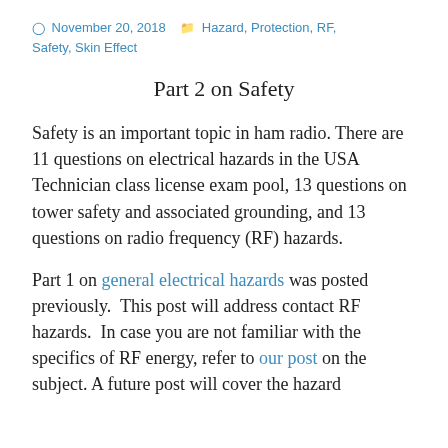November 20, 2018   Hazard, Protection, RF, Safety, Skin Effect
Part 2 on Safety
Safety is an important topic in ham radio. There are 11 questions on electrical hazards in the USA Technician class license exam pool, 13 questions on tower safety and associated grounding, and 13 questions on radio frequency (RF) hazards.
Part 1 on general electrical hazards was posted previously. This post will address contact RF hazards. In case you are not familiar with the specifics of RF energy, refer to our post on the subject. A future post will cover the hazard...